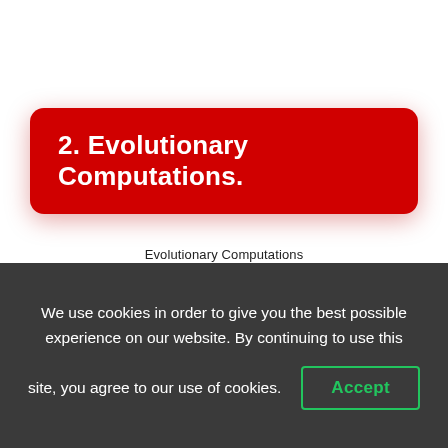2. Evolutionary Computations.
Evolutionary Computations
We use cookies in order to give you the best possible experience on our website. By continuing to use this site, you agree to our use of cookies. Accept